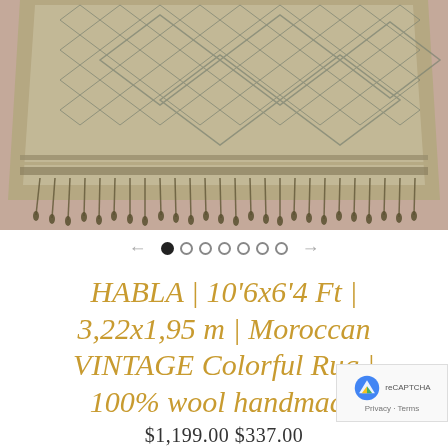[Figure (photo): Photo of a Moroccan vintage rug laid flat, showing geometric diamond patterns in muted grey-blue tones with fringe tassels along the bottom edge. The rug is photographed on a terracotta/dusty pink surface.]
← ● ○ ○ ○ ○ ○ ○ →
HABLA | 10'6x6'4 Ft | 3,22x1,95 m | Moroccan VINTAGE Colorful Rug | 100% wool handmade
$1,199.00 $337.00